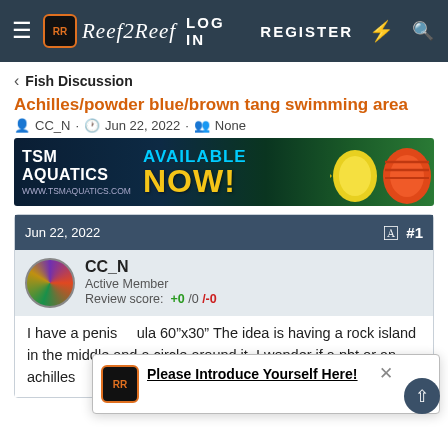Reef2Reef — LOG IN  REGISTER
< Fish Discussion
Achilles/powder blue/brown tang swimming area
CC_N · Jun 22, 2022 · None
[Figure (photo): TSM Aquatics banner ad — AVAILABLE NOW! www.tsmaquatics.com with yellow and orange fish]
Jun 22, 2022  #1
CC_N
Active Member
Review score: +0 /0 /-0
I have a peninsula 60"x30" The idea is having a rock island in the middle and a circle around it. I wonder if a pbt or an achilles
Please Introduce Yourself Here!